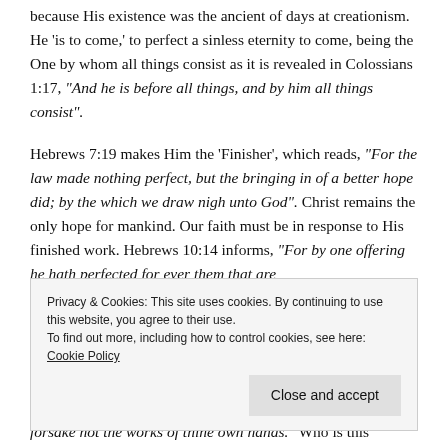because His existence was the ancient of days at creationism. He 'is to come,' to perfect a sinless eternity to come, being the One by whom all things consist as it is revealed in Colossians 1:17, "And he is before all things, and by him all things consist".
Hebrews 7:19 makes Him the 'Finisher', which reads, "For the law made nothing perfect, but the bringing in of a better hope did; by the which we draw nigh unto God". Christ remains the only hope for mankind. Our faith must be in response to His finished work. Hebrews 10:14 informs, "For by one offering he hath perfected for ever them that are
Privacy & Cookies: This site uses cookies. By continuing to use this website, you agree to their use.
To find out more, including how to control cookies, see here: Cookie Policy
forsake not the works of thine own hands." Who is this